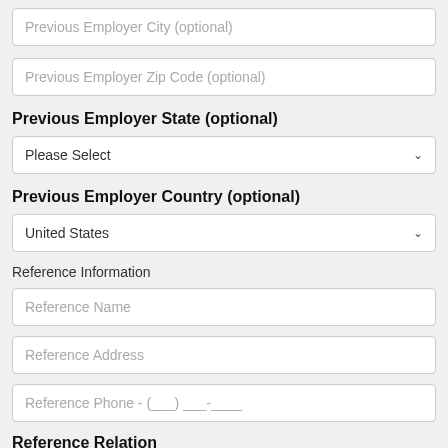Previous Employer City (optional)
Previous Employer Zip Code (optional)
Previous Employer State (optional)
Please Select
Previous Employer Country (optional)
United States
Reference Information
Reference Name
Reference Address
Reference Phone - (___) ___-____
Reference Relation